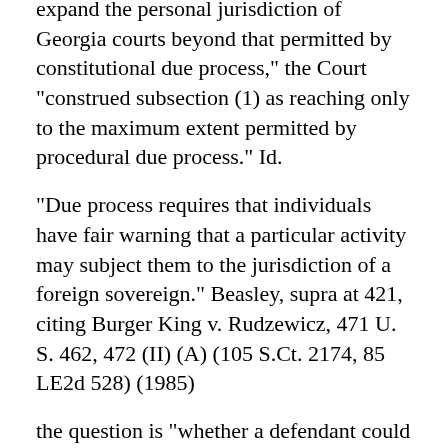expand the personal jurisdiction of Georgia courts beyond that permitted by constitutional due process," the Court "construed subsection (1) as reaching only to the maximum extent permitted by procedural due process." Id.
"Due process requires that individuals have fair warning that a particular activity may subject them to the jurisdiction of a foreign sovereign." Beasley, supra at 421, citing Burger King v. Rudzewicz, 471 U. S. 462, 472 (II) (A) (105 S.Ct. 2174, 85 LE2d 528) (1985)
the question is "whether a defendant could reasonably expect to be haled into court in a particular forum," Beasley, supra, based on its contacts with the state.
The inquiry consists of a three-part test:
"Jurisdiction exists if (1) the nonresident defendant